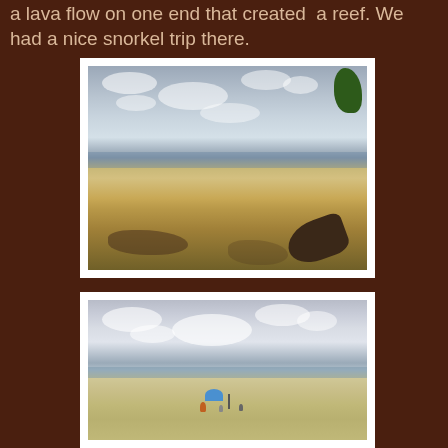a lava flow on one end that created  a reef. We had a nice snorkel trip there.
[Figure (photo): A sandy beach with a cloudy sky, a tree with exposed roots on the right side, and sandy ground in the foreground.]
[Figure (photo): An open sandy beach with a calm ocean, cloudy sky, and a person sitting under a blue umbrella in the distance.]